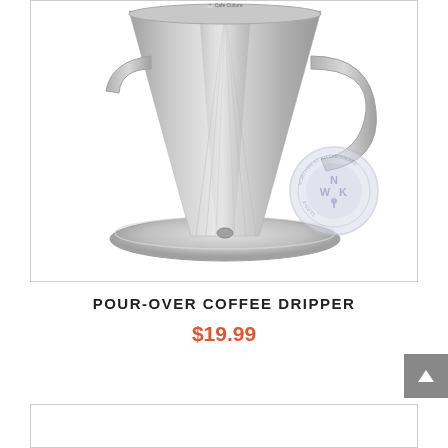[Figure (photo): Stainless steel pour-over coffee dripper with conical shape, handle on right side, circular base, and NWK (Northwest Kitchenware) watermark logo in bottom right corner]
POUR-OVER COFFEE DRIPPER
$19.99